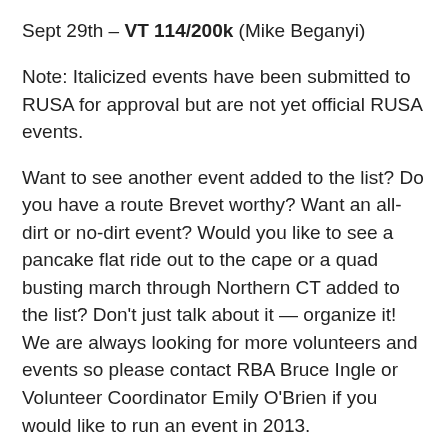Sept 29th – VT 114/200k (Mike Beganyi)
Note: Italicized events have been submitted to RUSA for approval but are not yet official RUSA events.
Want to see another event added to the list? Do you have a route Brevet worthy? Want an all-dirt or no-dirt event? Would you like to see a pancake flat ride out to the cape or a quad busting march through Northern CT added to the list? Don't just talk about it — organize it! We are always looking for more volunteers and events so please contact RBA Bruce Ingle or Volunteer Coordinator Emily O'Brien if you would like to run an event in 2013.
All 2012 events have the results posted in the event info pages. Over the winter we'll consolidate the results and add them to the historical results page